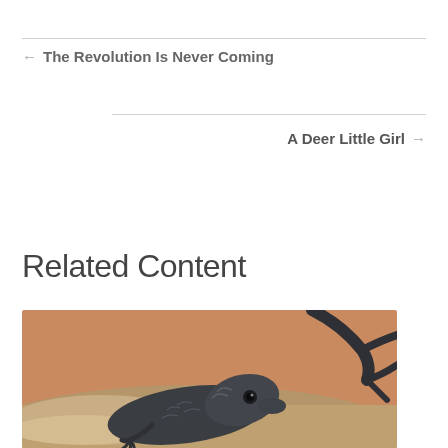← The Revolution Is Never Coming
A Deer Little Girl →
Related Content
[Figure (photo): Close-up photograph of a dark grey lizard on sandy ground with an orange blurred background, another lizard visible in the upper right corner.]